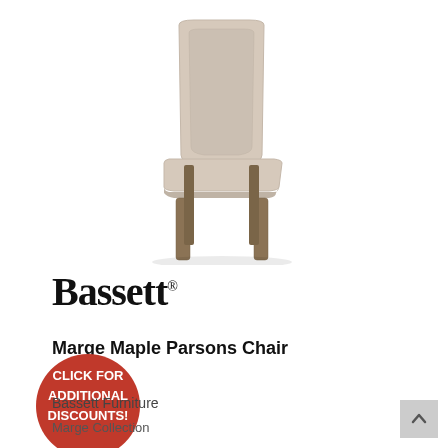[Figure (photo): A Parsons dining chair with beige/taupe upholstered back and seat, sitting on four dark wood legs, photographed on a white background.]
[Figure (logo): Bassett brand logo in bold serif font with registered trademark symbol]
Marge Maple Parsons Chair
[Figure (other): Red circular badge with text: CLICK FOR ADDITIONAL DISCOUNTS!]
Bassett Furniture
Marge Collection